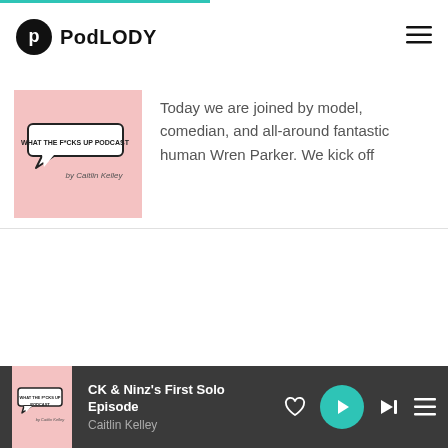PodLODY
[Figure (illustration): Podcast cover art for 'What The F*cks Up Podcast by Caitlin Kelley' on pink background with speech bubble graphic]
Today we are joined by model, comedian, and all-around fantastic human Wren Parker. We kick off
[Figure (illustration): Small podcast thumbnail in player bar for 'What The F*cks Up Podcast' on pink background]
CK & Ninz's First Solo Episode
Caitlin Kelley